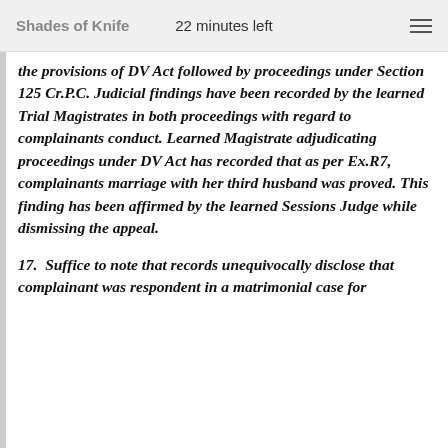Shades of Knife   22 minutes left
the provisions of DV Act followed by proceedings under Section 125 Cr.P.C. Judicial findings have been recorded by the learned Trial Magistrates in both proceedings with regard to complainants conduct. Learned Magistrate adjudicating proceedings under DV Act has recorded that as per Ex.R7, complainants marriage with her third husband was proved. This finding has been affirmed by the learned Sessions Judge while dismissing the appeal.
17. Suffice to note that records unequivocally disclose that complainant was respondent in a matrimonial case for